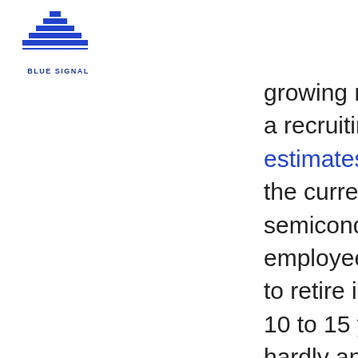[Figure (logo): Blue Signal logo — blue striped triangle above the text BLUE SIGNAL]
growing need. MRE, a recruiting group, estimates that half of the current semiconductor employees are likely to retire in the next 10 to 15 years - with hardly anyone qualified enough to fill those gaps. With people retiring out, and few newcomers - the talent pool is shrinking. In order to